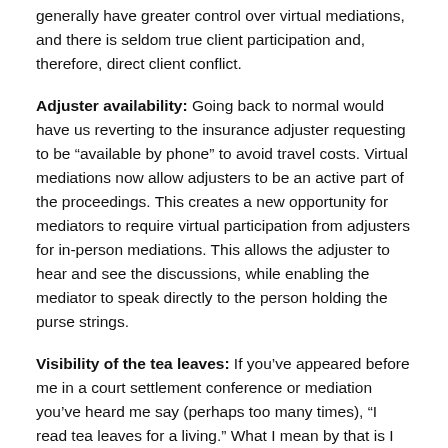generally have greater control over virtual mediations, and there is seldom true client participation and, therefore, direct client conflict.
Adjuster availability: Going back to normal would have us reverting to the insurance adjuster requesting to be “available by phone” to avoid travel costs. Virtual mediations now allow adjusters to be an active part of the proceedings. This creates a new opportunity for mediators to require virtual participation from adjusters for in-person mediations. This allows the adjuster to hear and see the discussions, while enabling the mediator to speak directly to the person holding the purse strings.
Visibility of the tea leaves: If you’ve appeared before me in a court settlement conference or mediation you’ve heard me say (perhaps too many times), “I read tea leaves for a living.” What I mean by that is I carefully read the body language and listen to what is said, and what is not said, to try to determine where the parties might find common ground, and what the